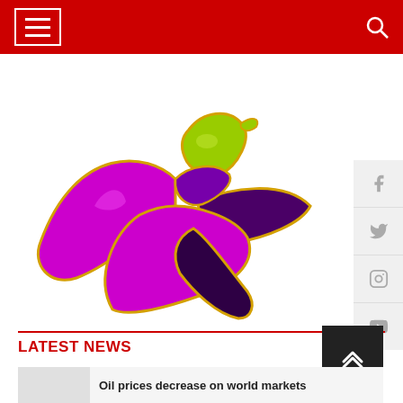Navigation header with hamburger menu and search icon
[Figure (illustration): Colorful origami-style bird logo made of purple, magenta and yellow-green geometric shapes with gold outlines, resembling a flying dove or bird of paradise]
[Figure (other): Social media sidebar with Facebook, Twitter, Instagram, and YouTube icons in gray]
LATEST NEWS
[Figure (other): Back to top button (dark background with upward chevron arrows)]
Oil prices decrease on world markets